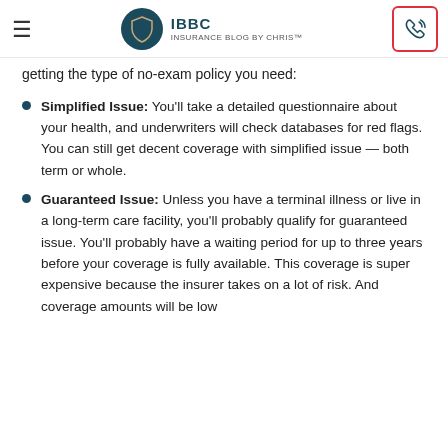IBBC INSURANCE BLOG BY CHRIS™
getting the type of no-exam policy you need:
Simplified Issue: You'll take a detailed questionnaire about your health, and underwriters will check databases for red flags. You can still get decent coverage with simplified issue — both term or whole.
Guaranteed Issue: Unless you have a terminal illness or live in a long-term care facility, you'll probably qualify for guaranteed issue. You'll probably have a waiting period for up to three years before your coverage is fully available. This coverage is super expensive because the insurer takes on a lot of risk. And coverage amounts will be low